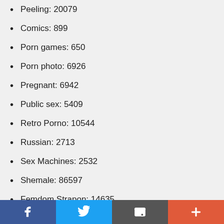Peeing: 20079
Comics: 899
Porn games: 650
Porn photo: 6926
Pregnant: 6942
Public sex: 5409
Retro Porno: 10544
Russian: 2713
Sex Machines: 2532
Shemale: 86597
Femdom Strapon: 14635
Teens: 5270
Threesome: 25110
Uncensored asian: 4757
Unusual: 5468
Social share bar with Facebook, Twitter, Email, and More buttons